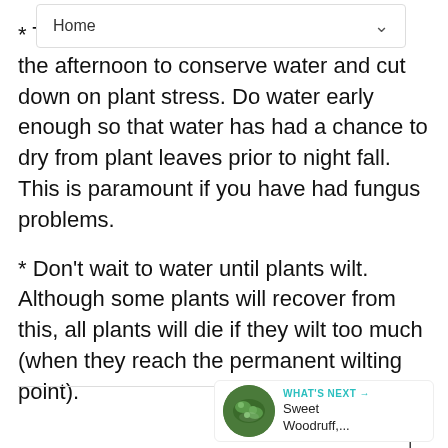Home
* T[...] the afternoon to conserve water and cut down on plant stress. Do water early enough so that water has had a chance to dry from plant leaves prior to night fall. This is paramount if you have had fungus problems.
* Don't wait to water until plants wilt. Although some plants will recover from this, all plants will die if they wilt too much (when they reach the permanent wilting point).
WHAT'S NEXT → Sweet Woodruff,...